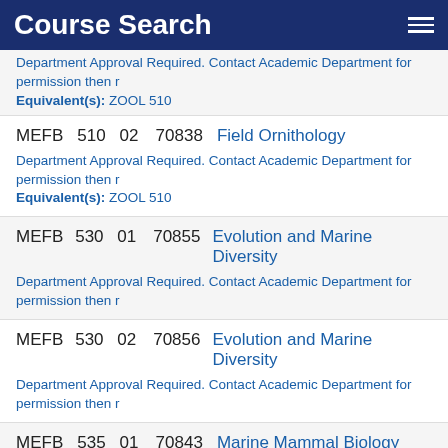Course Search
Department Approval Required. Contact Academic Department for permission then r
Equivalent(s): ZOOL 510
MEFB 510 02 70838 Field Ornithology
Department Approval Required. Contact Academic Department for permission then r
Equivalent(s): ZOOL 510
MEFB 530 01 70855 Evolution and Marine Diversity
Department Approval Required. Contact Academic Department for permission then r
MEFB 530 02 70856 Evolution and Marine Diversity
Department Approval Required. Contact Academic Department for permission then r
MEFB 535 01 70843 Marine Mammal Biology
Department Approval Required. Contact Academic Department for permission then r
MEFB 535 02 70844 Marine Mammal Biology
Department Approval Required. Contact Academic Department for permission then r
MEFB 674 01 70851 Ecology and Marine Environment
Department Approval Required. Contact Academic Department for permission then r
Equivalent(s): ZOOL 674, ZOOL 675